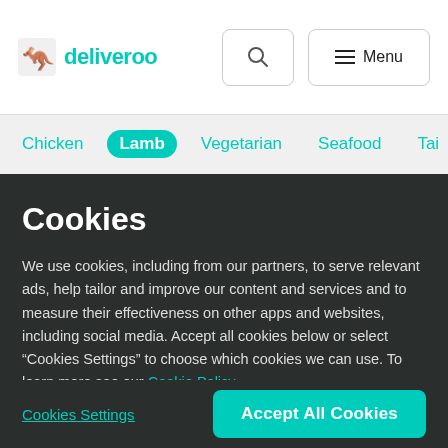[Figure (screenshot): Deliveroo website navigation bar with logo, search button, and menu button]
[Figure (screenshot): Deliveroo website category navigation tabs: Chicken, Lamb (active/selected in teal), Vegetarian, Seafood, Tai]
Cookies
We use cookies, including from our partners, to serve relevant ads, help tailor and improve our content and services and to measure their effectiveness on other apps and websites, including social media. Accept all cookies below or select “Cookies Settings” to choose which cookies we can use. To learn more see our Cookie Policy
Cookies Settings
Accept All Cookies